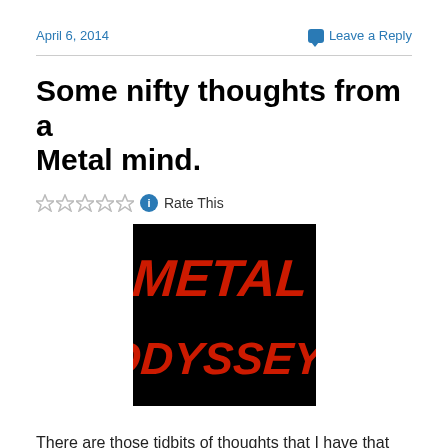April 6, 2014
Leave a Reply
Some nifty thoughts from a Metal mind.
Rate This
[Figure (logo): Metal Odyssey logo - red stylized text on black background reading METAL ODYSSEY]
There are those tidbits of thoughts that I have that just need to be read by the entire world. No, these thoughts